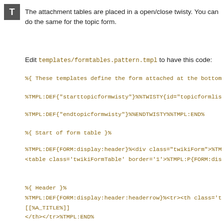[Figure (logo): Gray square icon with white letter T]
The attachment tables are placed in a open/close twisty. You can do the same for the topic form.
Edit templates/formtables.pattern.tmpl to have this code:
%{ These templates define the form attached at the bottom
%TMPL:DEF{"starttopicformwisty"}%%TWISTY{id="topicformlis
%TMPL:DEF{"endtopicformwisty"}%%ENDTWISTY%%TMPL:END%
%{ Start of form table }%
%TMPL:DEF{FORM:display:header}%<div class="twikiForm">%TM
<table class='twikiFormTable' border='1'>%TMPL:P{FORM:dis
%{ Header }%
%TMPL:DEF{FORM:display:header:headerrow}%<tr><th class='t
[[%A_TITLE%]]
</th></tr>%TMPL:END%
%{ Each row }%
%TMPL:DEF{FORM:display:row}%<tr valign='top'><td class='t